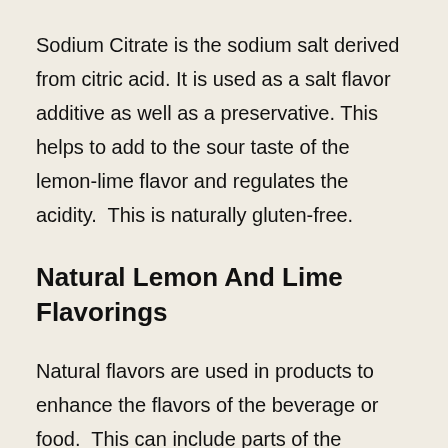Sodium Citrate is the sodium salt derived from citric acid. It is used as a salt flavor additive as well as a preservative. This helps to add to the sour taste of the lemon-lime flavor and regulates the acidity.  This is naturally gluten-free.
Natural Lemon And Lime Flavorings
Natural flavors are used in products to enhance the flavors of the beverage or food.  This can include parts of the